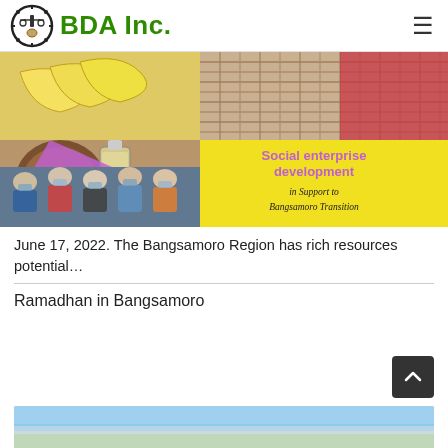BDA Inc.
[Figure (photo): Collage image showing social enterprise development products (bananas, coconut oil, woven baskets) and a group of masked people at a meeting, with yellow panel reading 'Social enterprise development in Support to Bangsamoro Transition' and BDA Inc. logo]
June 17, 2022. The Bangsamoro Region has rich resources potential…
Ramadhan in Bangsamoro
[Figure (photo): Bottom strip of an image showing a landscape/outdoor scene]